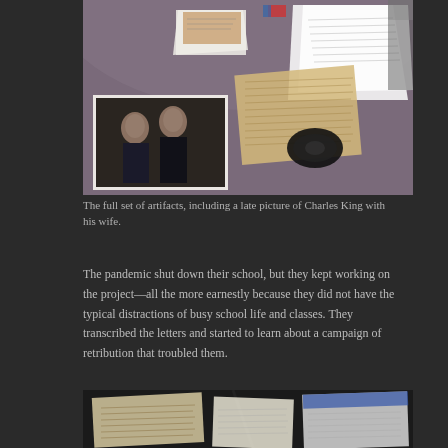[Figure (photo): A round table with historical artifacts spread on it: letters, documents, a black-and-white portrait photograph of Charles King with his wife, old handwritten notes, and a rolled black item (possibly a ribbon or belt).]
The full set of artifacts, including a late picture of Charles King with his wife.
The pandemic shut down their school, but they kept working on the project—all the more earnestly because they did not have the typical distractions of busy school life and classes. They transcribed the letters and started to learn about a campaign of retribution that troubled them.
[Figure (photo): A partial view of handwritten letters and documents laid out on a dark surface, partially cut off at the bottom of the page.]